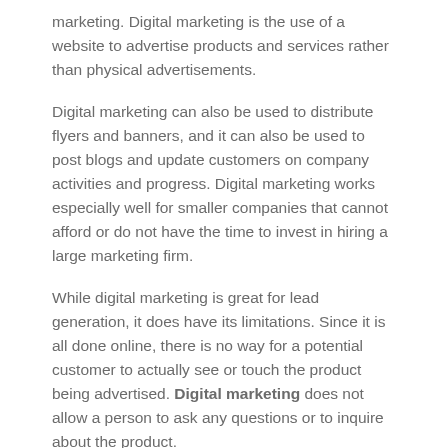marketing. Digital marketing is the use of a website to advertise products and services rather than physical advertisements.
Digital marketing can also be used to distribute flyers and banners, and it can also be used to post blogs and update customers on company activities and progress. Digital marketing works especially well for smaller companies that cannot afford or do not have the time to invest in hiring a large marketing firm.
While digital marketing is great for lead generation, it does have its limitations. Since it is all done online, there is no way for a potential customer to actually see or touch the product being advertised. Digital marketing does not allow a person to ask any questions or to inquire about the product.